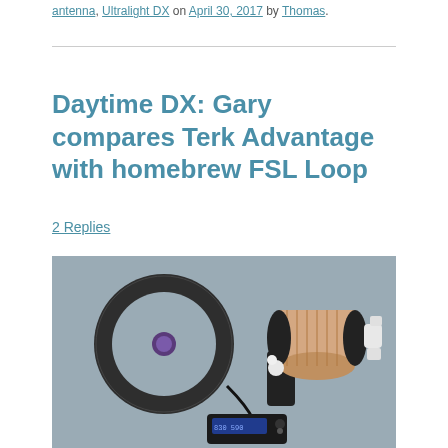antenna, Ultralight DX on April 30, 2017 by Thomas.
Daytime DX: Gary compares Terk Advantage with homebrew FSL Loop
2 Replies
[Figure (photo): Two antennas photographed on a grey cloth background: on the left, a large dark circular loop antenna (Terk Advantage) with a purple tuning capacitor in the center; on the right, a homebrew FSL (Ferrite Sleeve Loop) antenna with a beige cylindrical ferrite core mounted on a black base with white PVC fittings. A small portable radio with a digital display is visible at the bottom center.]